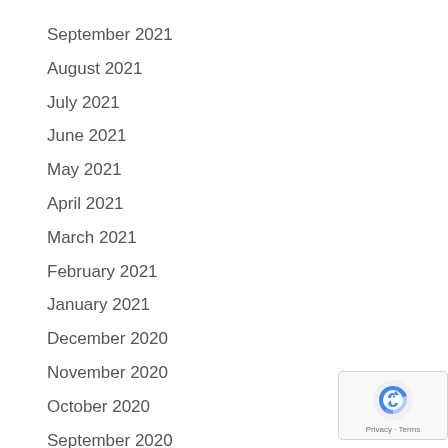September 2021
August 2021
July 2021
June 2021
May 2021
April 2021
March 2021
February 2021
January 2021
December 2020
November 2020
October 2020
September 2020
August 2020
July 2020
[Figure (logo): Google reCAPTCHA badge with Privacy and Terms text]